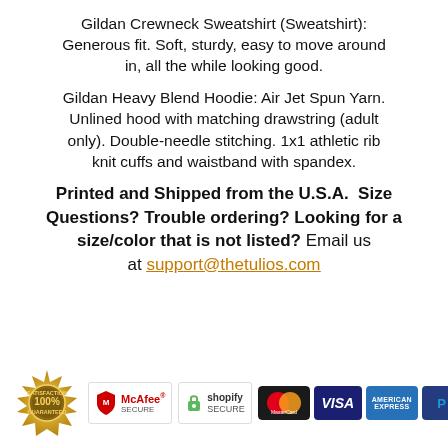Gildan Crewneck Sweatshirt (Sweatshirt): Generous fit. Soft, sturdy, easy to move around in, all the while looking good.
Gildan Heavy Blend Hoodie: Air Jet Spun Yarn. Unlined hood with matching drawstring (adult only). Double-needle stitching. 1x1 athletic rib knit cuffs and waistband with spandex.
Printed and Shipped from the U.S.A.  Size Questions? Trouble ordering? Looking for a size/color that is not listed? Email us at support@thetulios.com
[Figure (infographic): Row of trust/security badges: 100% Satisfaction Guarantee seal, McAfee SECURE badge, Shopify SECURE badge, MasterCard logo, VISA logo, American Express logo, PayPal logo]